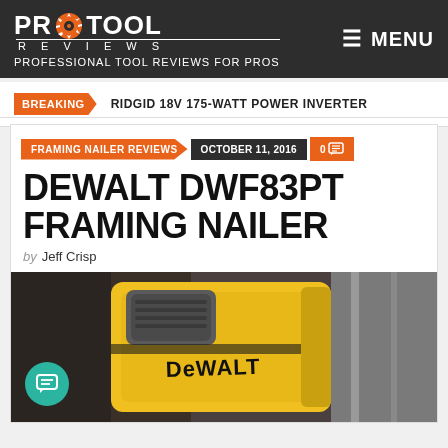PRO TOOL REVIEWS — PROFESSIONAL TOOL REVIEWS FOR PROS | MENU
BREAKING   RIDGID 18V 175-WATT POWER INVERTER
FRAMING NAILER REVIEWS   OCTOBER 11, 2016   0
DEWALT DWF83PT FRAMING NAILER
by Jeff Crisp
[Figure (photo): Close-up photo of a yellow DeWalt DWF83PT framing nailer]